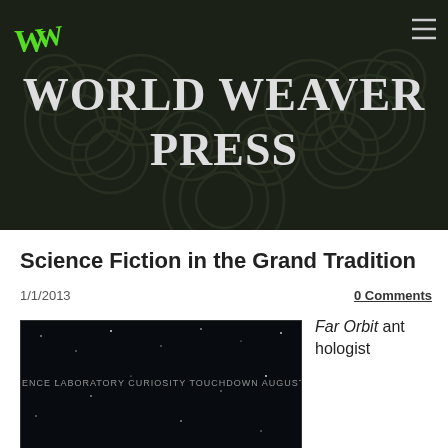[Figure (logo): World Weaver Press logo - stylized WW in green on dark background banner with swirl patterns. Text: WORLD WEAVER PRESS in large serif font.]
Science Fiction in the Grand Tradition
1/1/2013
0 Comments
[Figure (photo): Dark space/stars image with text overlay referencing Mars Science Laboratory Curiosity Touchdown August 06 2012]
Far Orbit anthologist